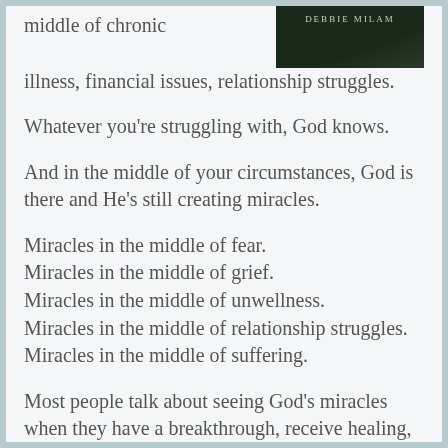[Figure (photo): Book cover with dark green/black background, author name 'DEBBIE MILAM' in light text at top]
middle of chronic illness, financial issues, relationship struggles.
Whatever you're struggling with, God knows.
And in the middle of your circumstances, God is there and He's still creating miracles.
Miracles in the middle of fear.
Miracles in the middle of grief.
Miracles in the middle of unwellness.
Miracles in the middle of relationship struggles.
Miracles in the middle of suffering.
Most people talk about seeing God's miracles when they have a breakthrough, receive healing, are freed from an addiction, or are victorious on the mountaintop. But